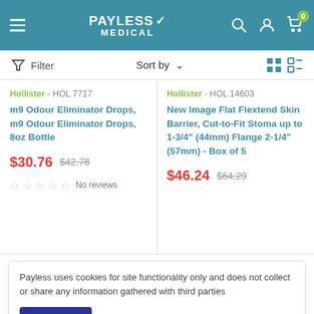[Figure (screenshot): Payless Medical website header with logo, hamburger menu, search, account, and cart icons]
Filter   Sort by   (grid and list view icons)
Hollister - HOL 7717
m9 Odour Eliminator Drops, m9 Odour Eliminator Drops, 8oz Bottle
$30.76  $42.78
No reviews
Hollister - HOL 14603
New Image Flat Flextend Skin Barrier, Cut-to-Fit Stoma up to 1-3/4" (44mm) Flange 2-1/4" (57mm) - Box of 5
$46.24  $64.29
Payless uses cookies for site functionality only and does not collect or share any information gathered with third parties